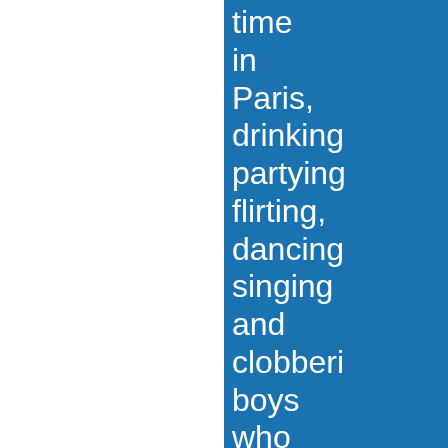time in Paris, drinking partying flirting, dancing singing and clobbering boys who want to go further than a kiss. The most beautiful boy in the world, Chad